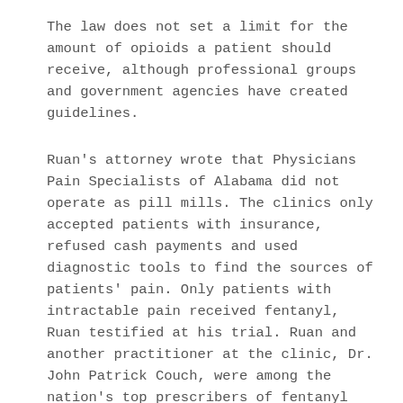The law does not set a limit for the amount of opioids a patient should receive, although professional groups and government agencies have created guidelines.
Ruan's attorney wrote that Physicians Pain Specialists of Alabama did not operate as pill mills. The clinics only accepted patients with insurance, refused cash payments and used diagnostic tools to find the sources of patients' pain. Only patients with intractable pain received fentanyl, Ruan testified at his trial. Ruan and another practitioner at the clinic, Dr. John Patrick Couch, were among the nation's top prescribers of fentanyl painkillers. Attorneys for the U.S. Department of Justice said Ruan